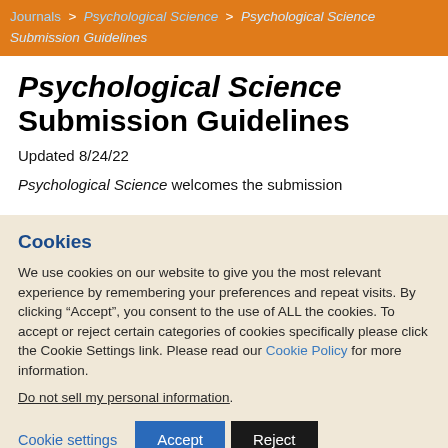Journals > Psychological Science > Psychological Science Submission Guidelines
Psychological Science Submission Guidelines
Updated 8/24/22
Psychological Science welcomes the submission of...
Cookies
We use cookies on our website to give you the most relevant experience by remembering your preferences and repeat visits. By clicking “Accept”, you consent to the use of ALL the cookies. To accept or reject certain categories of cookies specifically please click the Cookie Settings link. Please read our Cookie Policy for more information.
Do not sell my personal information.